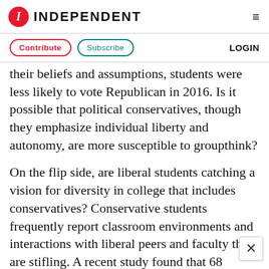INDEPENDENT
Contribute  Subscribe  LOGIN
their beliefs and assumptions, students were less likely to vote Republican in 2016. Is it possible that political conservatives, though they emphasize individual liberty and autonomy, are more susceptible to groupthink?
On the flip side, are liberal students catching a vision for diversity in college that includes conservatives? Conservative students frequently report classroom environments and interactions with liberal peers and faculty that are stifling. A recent study found that 68